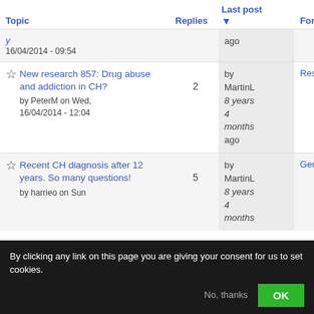| Topic | Replies | Last post ▾ | Forum |
| --- | --- | --- | --- |
| [partial] by ... on ...
16/04/2014 - 09:54 |  | ago |  |
| ★ New research 857: Drug abuse and addiction in CH?
by PeterM on Wed, 16/04/2014 - 12:04 | 2 | by MartinL
8 years 4 months ago | Research |
| ★ Recent CH diagnosis after 12 years. So many questions!
by harrieo on Sun | 5 | by MartinL
8 years 4 months ago | General |
By clicking any link on this page you are giving your consent for us to set cookies.